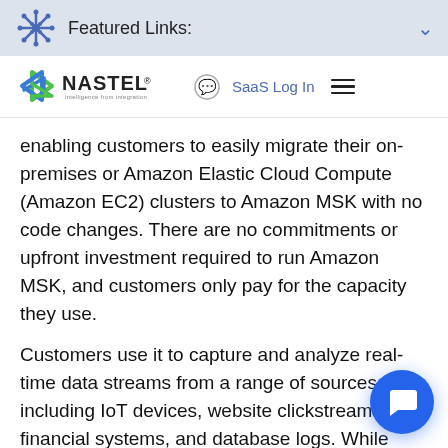Featured Links:
[Figure (logo): Nastel Technologies logo with text 'intelligence from integration']
enabling customers to easily migrate their on-premises or Amazon Elastic Cloud Compute (Amazon EC2) clusters to Amazon MSK with no code changes. There are no commitments or upfront investment required to run Amazon MSK, and customers only pay for the capacity they use.
Customers use it to capture and analyze real-time data streams from a range of sources, including IoT devices, website clickstreams, financial systems, and database logs. While many customers chose to self-manage their clusters, they often spend a lot of time and expense securing, scaling, patching, and ensuring high availability